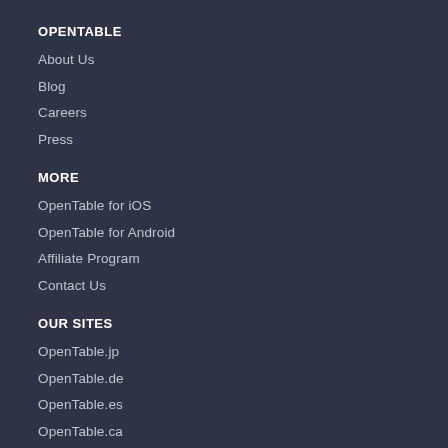OPENTABLE
About Us
Blog
Careers
Press
MORE
OpenTable for iOS
OpenTable for Android
Affiliate Program
Contact Us
OUR SITES
OpenTable.jp
OpenTable.de
OpenTable.es
OpenTable.ca
OpenTable.hk